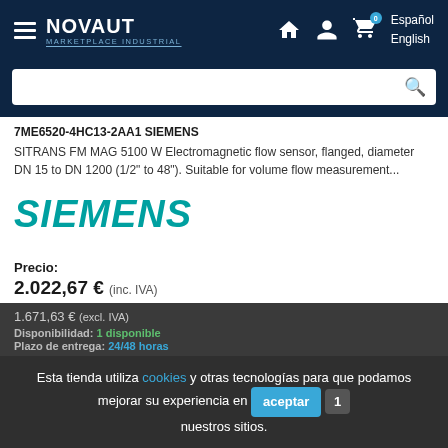NOVAUT MARKETPLACE INDUSTRIAL — Español / English
7ME6520-4HC13-2AA1 SIEMENS
SITRANS FM MAG 5100 W Electromagnetic flow sensor, flanged, diameter DN 15 to DN 1200 (1/2" to 48"). Suitable for volume flow measurement...
[Figure (logo): Siemens brand logo in teal/italic bold text]
Precio:
2.022,67 € (inc. IVA)
1.671,63 € (excl. IVA)
Disponibilidad: 1 disponible
Plazo de entrega: 24/48 horas
Esta tienda utiliza cookies y otras tecnologías para que podamos mejorar su experiencia en nuestros sitios.